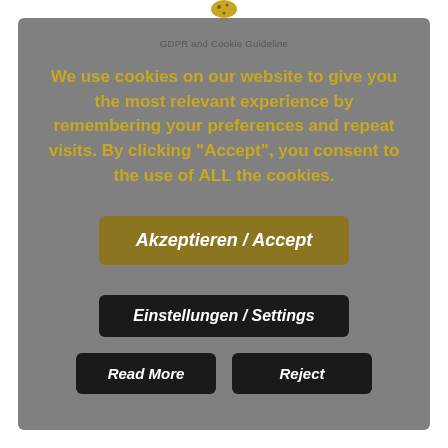GDPR and Cookie Guideline
We use cookies on our website to give you the most relevant experience by remembering your preferences and repeat visits. By clicking “Accept”, you consent to the use of ALL the cookies.
Akzeptieren / Accept
Einstellungen / Settings
Read More
Reject